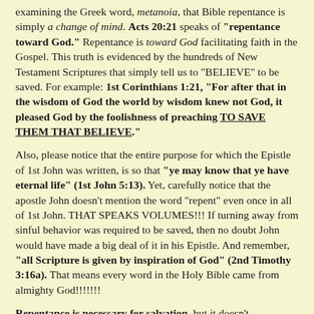examining the Greek word, metanoia, that Bible repentance is simply a change of mind. Acts 20:21 speaks of "repentance toward God." Repentance is toward God facilitating faith in the Gospel. This truth is evidenced by the hundreds of New Testament Scriptures that simply tell us to "BELIEVE" to be saved. For example: 1st Corinthians 1:21, "For after that in the wisdom of God the world by wisdom knew not God, it pleased God by the foolishness of preaching TO SAVE THEM THAT BELIEVE."
Also, please notice that the entire purpose for which the Epistle of 1st John was written, is so that "ye may know that ye have eternal life" (1st John 5:13). Yet, carefully notice that the apostle John doesn't mention the word "repent" even once in all of 1st John. THAT SPEAKS VOLUMES!!! If turning away from sinful behavior was required to be saved, then no doubt John would have made a big deal of it in his Epistle. And remember, "all Scripture is given by inspiration of God" (2nd Timothy 3:16a). That means every word in the Holy Bible came from almighty God!!!!!!!
Repentance is necessary for salvation, but it doesn't